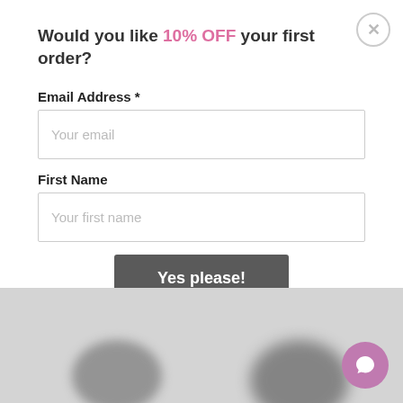Would you like 10% OFF your first order?
Email Address *
Your email
First Name
Your first name
Yes please!
Terms & Conditions | Privacy Policy
[Figure (screenshot): Blurred grey background image with chat button overlay]